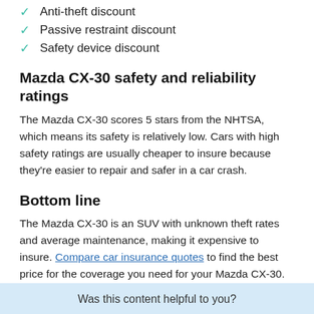Anti-theft discount
Passive restraint discount
Safety device discount
Mazda CX-30 safety and reliability ratings
The Mazda CX-30 scores 5 stars from the NHTSA, which means its safety is relatively low. Cars with high safety ratings are usually cheaper to insure because they're easier to repair and safer in a car crash.
Bottom line
The Mazda CX-30 is an SUV with unknown theft rates and average maintenance, making it expensive to insure. Compare car insurance quotes to find the best price for the coverage you need for your Mazda CX-30.
Was this content helpful to you?